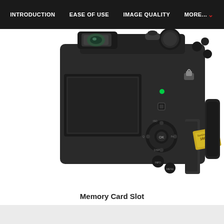INTRODUCTION | EASE OF USE | IMAGE QUALITY | MORE...
[Figure (photo): Back view of a DSLR-style camera with articulating LCD screen, viewfinder, control buttons, and a 16GB memory card partially ejected from the card slot on the right side.]
Memory Card Slot